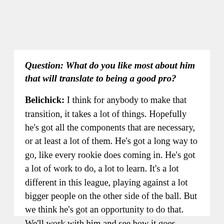Question: What do you like most about him that will translate to being a good pro?
Belichick: I think for anybody to make that transition, it takes a lot of things. Hopefully he's got all the components that are necessary, or at least a lot of them. He's got a long way to go, like every rookie does coming in. He's got a lot of work to do, a lot to learn. It's a lot different in this league, playing against a lot bigger people on the other side of the ball. But we think he's got an opportunity to do that. We'll work with him and see how it goes.